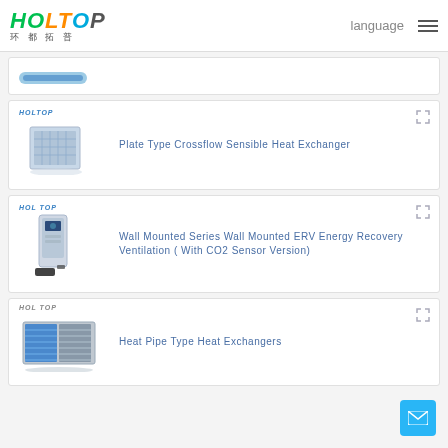HOLTOP 环都拓普 | language ☰
[Figure (photo): Partial product card showing blue tube/pipe heat exchanger product (top portion only visible)]
[Figure (photo): Plate Type Crossflow Sensible Heat Exchanger product photo with HOLTOP badge]
Plate Type Crossflow Sensible Heat Exchanger
[Figure (photo): Wall Mounted Series ERV unit product photo with HOLTOP badge]
Wall Mounted Series Wall Mounted ERV Energy Recovery Ventilation ( With CO2 Sensor Version)
[Figure (photo): Heat Pipe Type Heat Exchanger product photo with HOLTOP badge]
Heat Pipe Type Heat Exchangers